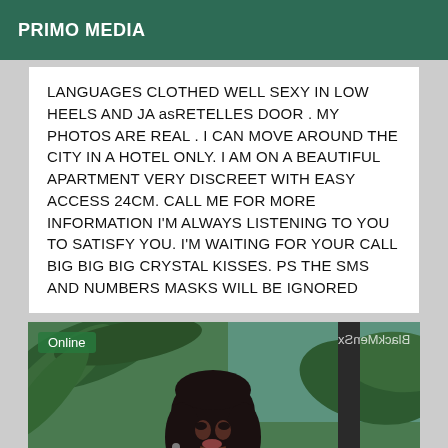PRIMO MEDIA
LANGUAGES CLOTHED WELL SEXY IN LOW HEELS AND JA asRETELLES DOOR . MY PHOTOS ARE REAL . I CAN MOVE AROUND THE CITY IN A HOTEL ONLY. I AM ON A BEAUTIFUL APARTMENT VERY DISCREET WITH EASY ACCESS 24CM. CALL ME FOR MORE INFORMATION I'M ALWAYS LISTENING TO YOU TO SATISFY YOU. I'M WAITING FOR YOUR CALL BIG BIG BIG CRYSTAL KISSES. PS THE SMS AND NUMBERS MASKS WILL BE IGNORED
[Figure (photo): Portrait photo of a woman with long dark hair outdoors with palm trees in background. Online badge in top-left corner. Mirrored watermark text 'BlackMenSx' in top-right corner.]